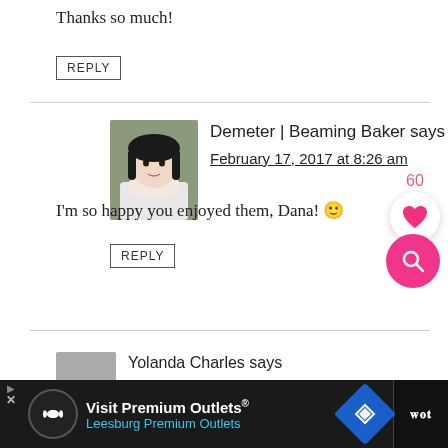Thanks so much!
REPLY
Demeter | Beaming Baker says
February 17, 2017 at 8:26 am
I'm so happy you enjoyed them, Dana! 🙂
REPLY
Yolanda Charles says
[Figure (screenshot): Advertisement banner: Visit Premium Outlets® Leesburg Premium Outlets with logo and navigation icon]